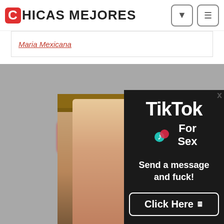CHICAS MEJORES
Maria Mexicana
[Figure (screenshot): Website screenshot showing Chicas Mejores adult content website with a popup TikTok ad overlay reading 'TikTok For Sex - Send a message and fuck! Click Here']